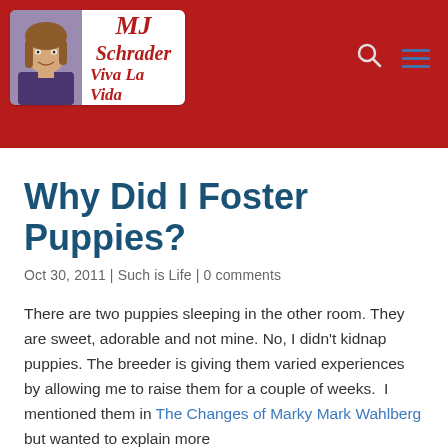[Figure (logo): MJ Schrader Viva La Vida blog header logo with woman's photo on red background]
Why Did I Foster Puppies?
Oct 30, 2011 | Such is Life | 0 comments
There are two puppies sleeping in the other room. They are sweet, adorable and not mine. No, I didn't kidnap puppies. The breeder is giving them varied experiences by allowing me to raise them for a couple of weeks.  I mentioned them in The Changes of Marky Mark Wahlberg but wanted to explain more
The couple of weeks is their ages 6 weeks up to 12 weeks ... 2 litters, 2 puppies then 5 puppies. A lot of